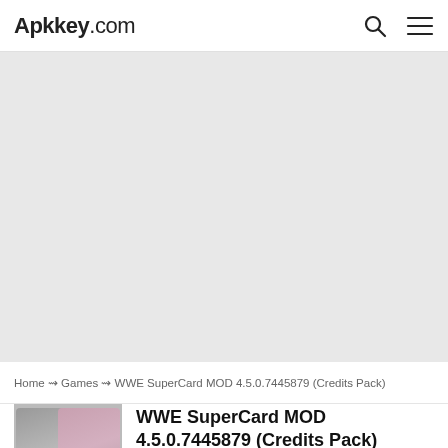Apkkey.com
[Figure (other): Gray advertisement placeholder block]
Home ⇝ Games ⇝ WWE SuperCard MOD 4.5.0.7445879 (Credits Pack)
[Figure (photo): WWE SuperCard app icon/thumbnail showing two wrestlers]
WWE SuperCard MOD 4.5.0.7445879 (Credits Pack)